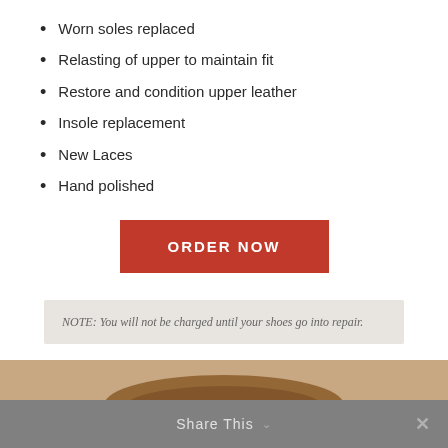Worn soles replaced
Relasting of upper to maintain fit
Restore and condition upper leather
Insole replacement
New Laces
Hand polished
ORDER NOW
NOTE: You will not be charged until your shoes go into repair.
[Figure (photo): Partial view of a brown leather shoe at the bottom of the page]
Share This  ×